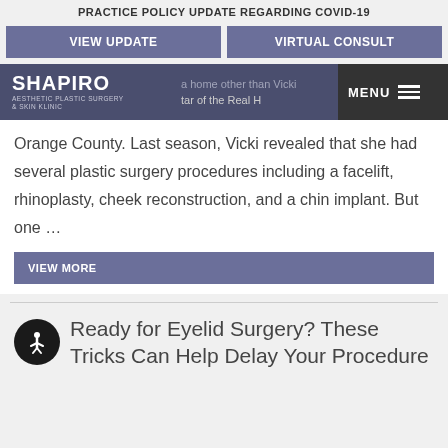PRACTICE POLICY UPDATE REGARDING COVID-19
VIEW UPDATE
VIRTUAL CONSULT
[Figure (logo): Shapiro Aesthetic Plastic Surgery & Skin Clinic logo with navigation bar showing MENU]
a home other than Vicki star of the Real Housewives of Orange County. Last season, Vicki revealed that she had several plastic surgery procedures including a facelift, rhinoplasty, cheek reconstruction, and a chin implant. But one …
VIEW MORE
Ready for Eyelid Surgery? These Tricks Can Help Delay Your Procedure